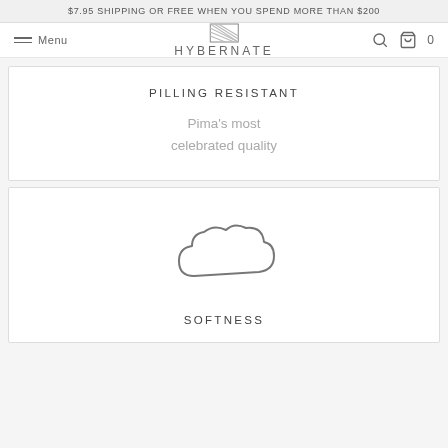$7.95 SHIPPING OR FREE WHEN YOU SPEND MORE THAN $200
[Figure (logo): Hybernate brand logo with menu, search, and cart icons in navigation bar]
PILLING RESISTANT
Pima's most celebrated quality
[Figure (illustration): Cloud icon representing softness]
SOFTNESS